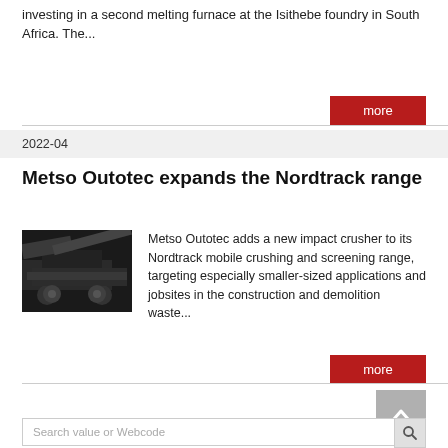investing in a second melting furnace at the Isithebe foundry in South Africa. The...
more
2022-04
Metso Outotec expands the Nordtrack range
[Figure (photo): Dark image of a mobile impact crusher machine in operation]
Metso Outotec adds a new impact crusher to its Nordtrack mobile crushing and screening range, targeting especially smaller-sized applications and jobsites in the construction and demolition waste...
more
Search value or Webcode